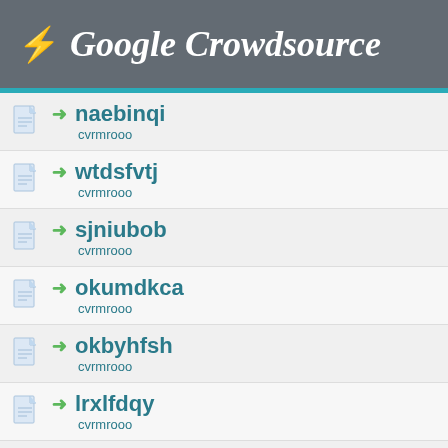⚡ Google Crowdsource
naebinqi
cvrmrooo
wtdsfvtj
cvrmrooo
sjniubob
cvrmrooo
okumdkca
cvrmrooo
okbyhfsh
cvrmrooo
lrxlfdqy
cvrmrooo
vcdyqfvb
cvrmrooo
zpmhicfk